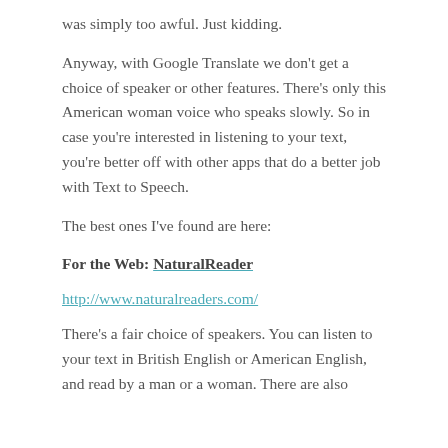was simply too awful. Just kidding.
Anyway, with Google Translate we don't get a choice of speaker or other features. There's only this American woman voice who speaks slowly. So in case you're interested in listening to your text, you're better off with other apps that do a better job with Text to Speech.
The best ones I've found are here:
For the Web: NaturalReader
http://www.naturalreaders.com/
There's a fair choice of speakers. You can listen to your text in British English or American English, and read by a man or a woman. There are also